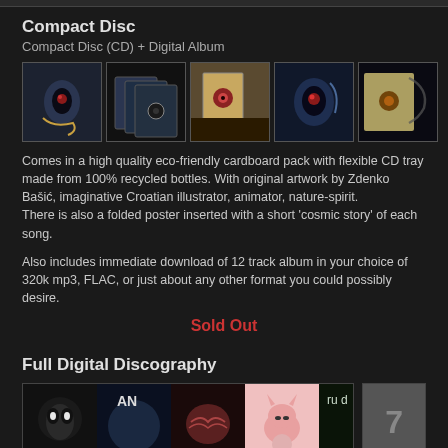Compact Disc
Compact Disc (CD) + Digital Album
[Figure (photo): Five thumbnail photos of a CD album product showing cover art, CD packaging, and physical disc]
Comes in a high quality eco-friendly cardboard pack with flexible CD tray made from 100% recycled bottles. With original artwork by Zdenko Bašić, imaginative Croatian illustrator, animator, nature-spirit.
There is also a folded poster inserted with a short 'cosmic story' of each song.

Also includes immediate download of 12 track album in your choice of 320k mp3, FLAC, or just about any other format you could possibly desire.
Sold Out
Full Digital Discography
[Figure (photo): Strip of multiple album cover thumbnails for a full digital discography, plus a dark grey box with number 7]